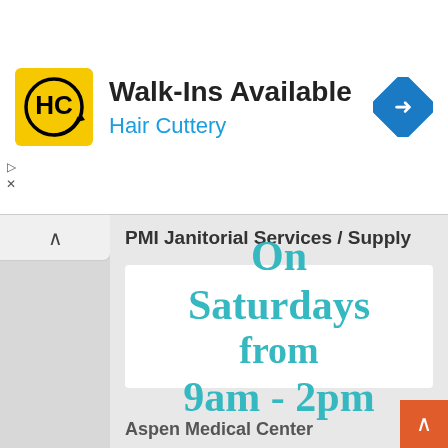[Figure (screenshot): Hair Cuttery advertisement banner with yellow HC logo, 'Walk-Ins Available' heading, 'Hair Cuttery' subtitle in blue, and blue navigation diamond icon on the right]
PMI Janitorial Services / Supply
[Figure (infographic): White card with large teal/cyan text reading 'On Saturdays from 9am - 2pm']
Aspen Medical Center